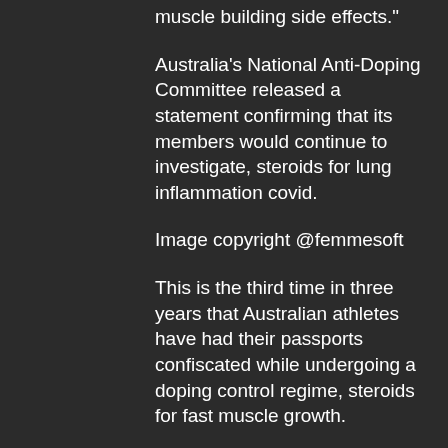muscle building side effects."
Australia's National Anti-Doping Committee released a statement confirming that its members would continue to investigate, steroids for lung inflammation covid.
Image copyright @femmesoft
This is the third time in three years that Australian athletes have had their passports confiscated while undergoing a doping control regime, steroids for fast muscle growth.
The World Anti-Doping agency (Wada) has also sanctioned a number of Australian athletes in the light of the investigation.
Australian athletes who have tested positive for the banned substance testosterone during 2013 were not given their passports